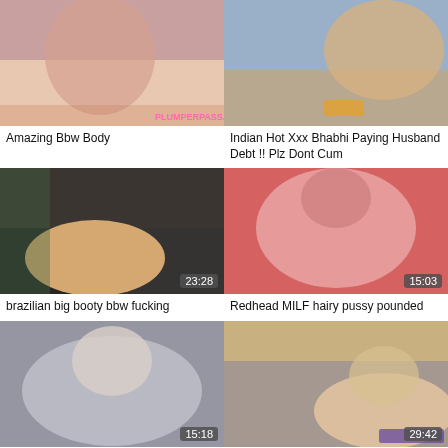[Figure (photo): Video thumbnail 1 - top left]
Amazing Bbw Body
[Figure (photo): Video thumbnail 2 - top right]
Indian Hot Xxx Bhabhi Paying Husband Debt !! Plz Dont Cum
[Figure (photo): Video thumbnail 3 - middle left, duration 23:28]
brazilian big booty bbw fucking
[Figure (photo): Video thumbnail 4 - middle right, duration 15:03]
Redhead MILF hairy pussy pounded
[Figure (photo): Video thumbnail 5 - bottom left, duration 15:18]
big tits bbw beauty
[Figure (photo): Video thumbnail 6 - bottom right, duration 29:42]
Bbwssbbw14